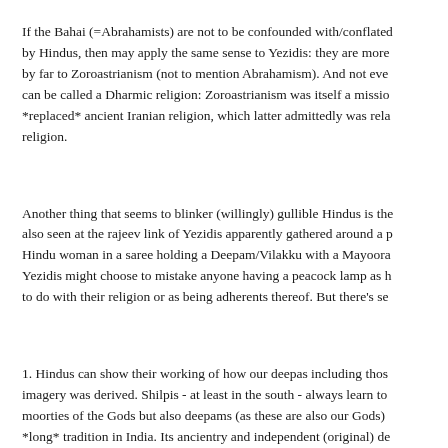If the Bahai (=Abrahamists) are not to be confounded with/conflated by Hindus, then may apply the same sense to Yezidis: they are more by far to Zoroastrianism (not to mention Abrahamism). And not eve can be called a Dharmic religion: Zoroastrianism was itself a missio *replaced* ancient Iranian religion, which latter admittedly was rela religion.
Another thing that seems to blinker (willingly) gullible Hindus is the also seen at the rajeev link of Yezidis apparently gathered around a p Hindu woman in a saree holding a Deepam/Vilakku with a Mayoora Yezidis might choose to mistake anyone having a peacock lamp as h to do with their religion or as being adherents thereof. But there's se
1. Hindus can show their working of how our deepas including thos imagery was derived. Shilpis - at least in the south - always learn to moorties of the Gods but also deepams (as these are also our Gods) *long* tradition in India. Its ancientry and independent (original) de Hindus is easily demonstrated. See also point 3.